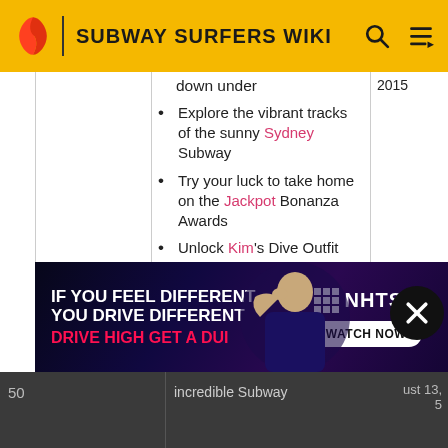SUBWAY SURFERS WIKI
down under — 2015
Explore the vibrant tracks of the sunny Sydney Subway
Try your luck to take home on the Jackpot Bonanza Awards
Unlock Kim's Dive Outfit and jump right into the Subway fun
Surf for High Scores on the cool new Wave Rider board
[Figure (photo): NHTSA advertisement: 'IF YOU FEEL DIFFERENT YOU DRIVE DIFFERENT DRIVE HIGH GET A DUI' with a person and NHTSA logo and WATCH NOW button]
50
ust 13,
incredible Subway